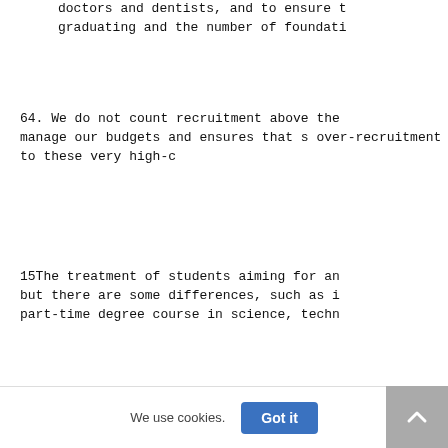doctors and dentists, and to ensure t graduating and the number of foundati
64. We do not count recruitment above the manage our budgets and ensures that s over-recruitment to these very high-c
15The treatment of students aiming for an but there are some differences, such as i part-time degree course in science, techn
16 Disabled Students’ Allowances are gove direct result of an impairment or specifi dsas.
17 Further information above medical and
www.officeforstudents.org.uk/advice-and-g
We use cookies.